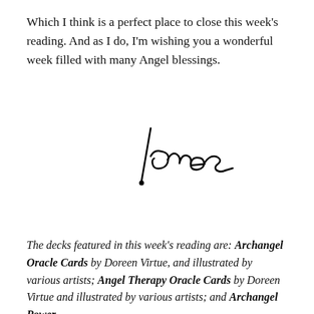Which I think is a perfect place to close this week's reading. And as I do, I'm wishing you a wonderful week filled with many Angel blessings.
[Figure (illustration): Handwritten signature reading 'James' in cursive script]
The decks featured in this week's reading are: Archangel Oracle Cards by Doreen Virtue, and illustrated by various artists; Angel Therapy Oracle Cards by Doreen Virtue and illustrated by various artists; and Archangel Power